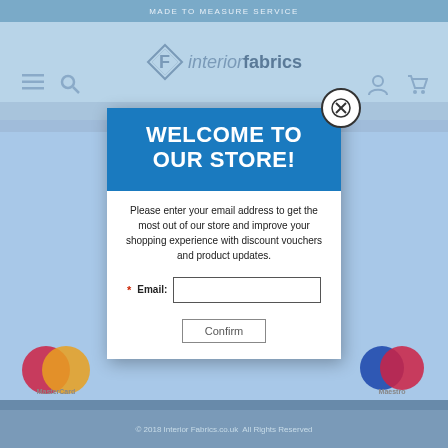MADE TO MEASURE SERVICE
[Figure (logo): Interior Fabrics logo with stylized F diamond icon and text 'interiorfabrics']
EXCELLENT CUSTOMER SERVICE
WELCOME TO OUR STORE!
Please enter your email address to get the most out of our store and improve your shopping experience with discount vouchers and product updates.
* Email:
Confirm
[Figure (logo): MasterCard payment logo]
[Figure (logo): Maestro payment logo]
© 2018 Interior Fabrics.co.uk  All Rights Reserved